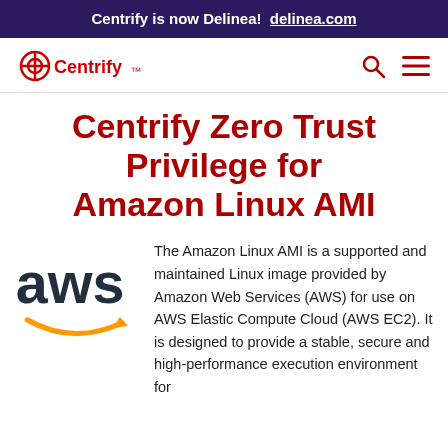Centrify is now Delinea!  delinea.com
[Figure (logo): Centrify logo with search and menu icons in navigation bar]
Centrify Zero Trust Privilege for Amazon Linux AMI
[Figure (logo): AWS logo with orange swoosh]
The Amazon Linux AMI is a supported and maintained Linux image provided by Amazon Web Services (AWS) for use on AWS Elastic Compute Cloud (AWS EC2). It is designed to provide a stable, secure and high-performance execution environment for